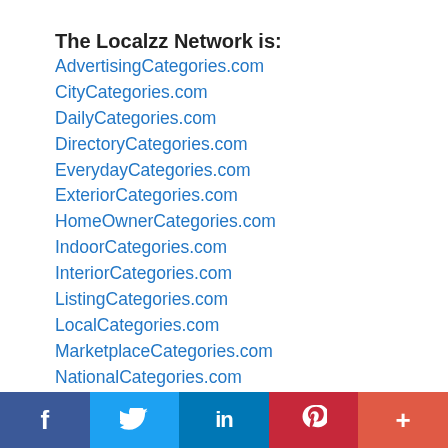The Localzz Network is:
AdvertisingCategories.com
CityCategories.com
DailyCategories.com
DirectoryCategories.com
EverydayCategories.com
ExteriorCategories.com
HomeOwnerCategories.com
IndoorCategories.com
InteriorCategories.com
ListingCategories.com
LocalCategories.com
MarketplaceCategories.com
NationalCategories.com
OutdoorCatgories.com
ProjectCategories.com
f  [Twitter bird]  in  [Pinterest P]  +